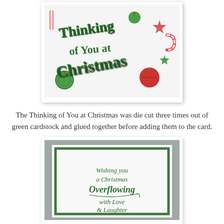[Figure (photo): Close-up photo of green die-cut 'Thinking of You at Christmas' text letters made from cardstock, placed on Christmas-themed patterned paper with ornaments, candy canes, and stars in red, green, and white.]
The Thinking of You at Christmas was die cut three times out of green cardstock and glued together before adding them to the card.
[Figure (photo): Photo of the inside of a Christmas card showing a white panel with a green border, with handwritten-style text reading: 'Wishing you a Christmas Overflowing with Love & Laughter']